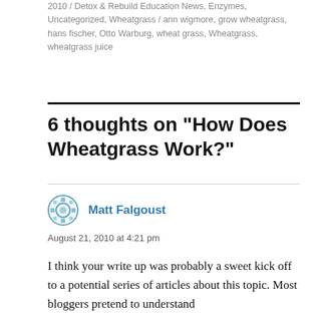2010 / Detox & Rebuild Education News, Enzymes, Uncategorized, Wheatgrass / ann wigmore, grow wheatgrass, hans fischer, Otto Warburg, wheat grass, Wheatgrass, wheatgrass juice
6 thoughts on “How Does Wheatgrass Work?”
Matt Falgoust
August 21, 2010 at 4:21 pm
I think your write up was probably a sweet kick off to a potential series of articles about this topic. Most bloggers pretend to understand